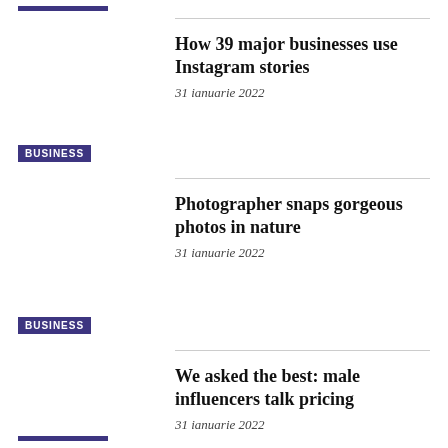How 39 major businesses use Instagram stories
31 ianuarie 2022
BUSINESS
Photographer snaps gorgeous photos in nature
31 ianuarie 2022
BUSINESS
We asked the best: male influencers talk pricing
31 ianuarie 2022